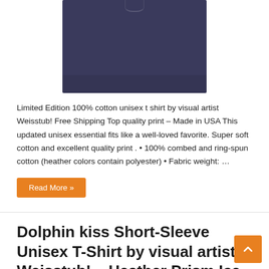[Figure (photo): Navy blue unisex t-shirt, showing the lower portion of the garment against a white background]
Limited Edition 100% cotton unisex t shirt by visual artist Weisstub! Free Shipping Top quality print – Made in USA This updated unisex essential fits like a well-loved favorite. Super soft cotton and excellent quality print . • 100% combed and ring-spun cotton (heather colors contain polyester) • Fabric weight: …
Read More »
Dolphin kiss Short-Sleeve Unisex T-Shirt by visual artist Weisstub! – Heather Prism Ice Blue 3XL
Agustos 12, 2021